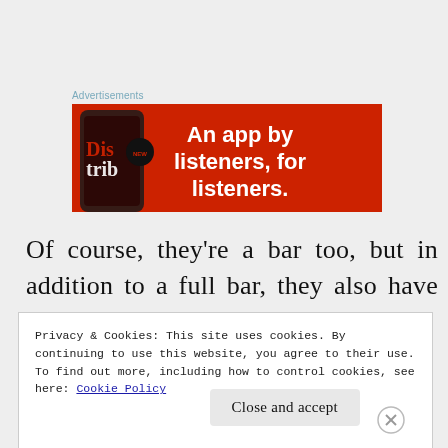Advertisements
[Figure (illustration): Red advertisement banner for a podcast app. Shows a smartphone on the left with 'Distributed' text visible on screen, and bold white text on the right reading 'An app by listeners, for listeners.']
Of course, they're a bar too, but in addition to a full bar, they also have food, serving
Privacy & Cookies: This site uses cookies. By continuing to use this website, you agree to their use.
To find out more, including how to control cookies, see here: Cookie Policy
Close and accept